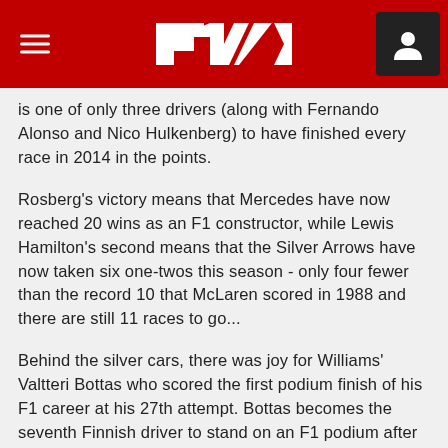F1 Logo header with navigation
is one of only three drivers (along with Fernando Alonso and Nico Hulkenberg) to have finished every race in 2014 in the points.
Rosberg's victory means that Mercedes have now reached 20 wins as an F1 constructor, while Lewis Hamilton's second means that the Silver Arrows have now taken six one-twos this season - only four fewer than the record 10 that McLaren scored in 1988 and there are still 11 races to go...
Behind the silver cars, there was joy for Williams' Valtteri Bottas who scored the first podium finish of his F1 career at his 27th attempt. Bottas becomes the seventh Finnish driver to stand on an F1 podium after Keke Rosberg, Mika Hakkinen, Mika Salo, JJ Lehto, Kimi Raikkonen, Heikki Kovalainen - that's quite some